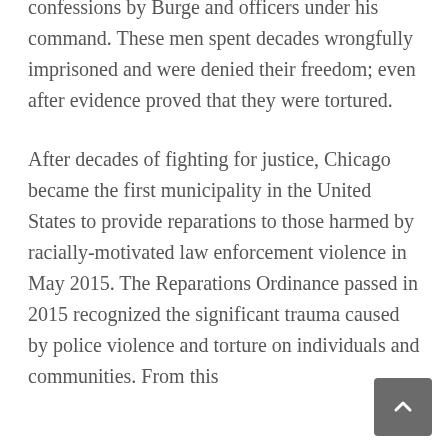confessions by Burge and officers under his command. These men spent decades wrongfully imprisoned and were denied their freedom; even after evidence proved that they were tortured.
After decades of fighting for justice, Chicago became the first municipality in the United States to provide reparations to those harmed by racially-motivated law enforcement violence in May 2015. The Reparations Ordinance passed in 2015 recognized the significant trauma caused by police violence and torture on individuals and communities. From this